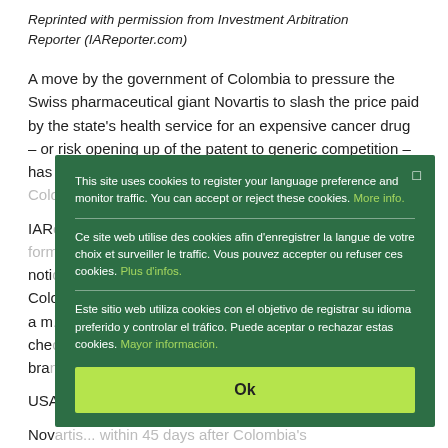Reprinted with permission from Investment Arbitration Reporter (IAReporter.com)
A move by the government of Colombia to pressure the Swiss pharmaceutical giant Novartis to slash the price paid by the state's health service for an expensive cancer drug – or risk opening up of the patent to generic competition – has attracted a threat of arbitration under the Switzerland-Colombia...
IAReporter... notified... Colombia... a move... che... bra...
USA...
Novartis... health minister had written to the company in April of 2016
[Figure (screenshot): Cookie consent overlay popup with green background. Contains three language sections (English, French, Spanish) with cookie policy notices and links. Has an 'Ok' button in lime green at the bottom. A close button (square icon) is at the top right.]